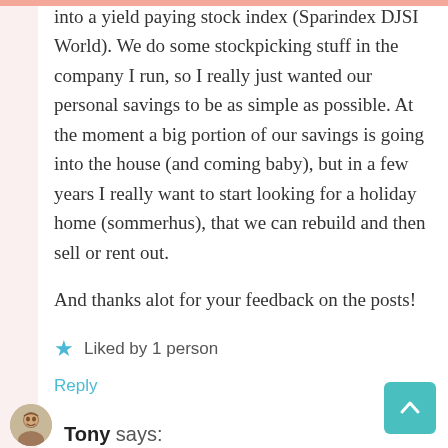into a yield paying stock index (Sparindex DJSI World). We do some stockpicking stuff in the company I run, so I really just wanted our personal savings to be as simple as possible. At the moment a big portion of our savings is going into the house (and coming baby), but in a few years I really want to start looking for a holiday home (sommerhus), that we can rebuild and then sell or rent out.
And thanks alot for your feedback on the posts!
Liked by 1 person
Reply
Tony says: